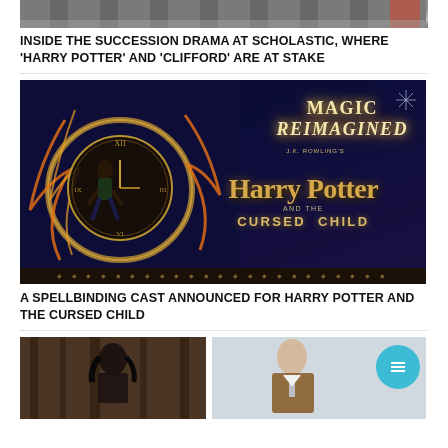[Figure (photo): Top portion of a building exterior photo, cropped at the top of the page]
INSIDE THE SUCCESSION DRAMA AT SCHOLASTIC, WHERE 'HARRY POTTER' AND 'CLIFFORD' ARE AT STAKE
[Figure (photo): Harry Potter and the Cursed Child promotional poster with dark blue background, magical fire effects, a clock, and gold stylized text reading 'Magic Reimagined' and 'J.K. Rowling's Harry Potter and the Cursed Child']
A SPELLBINDING CAST ANNOUNCED FOR HARRY POTTER AND THE CURSED CHILD
[Figure (photo): Two photos side by side at the bottom: left shows a person among trees, right shows a man in a brown suit with a teal circle icon overlay]